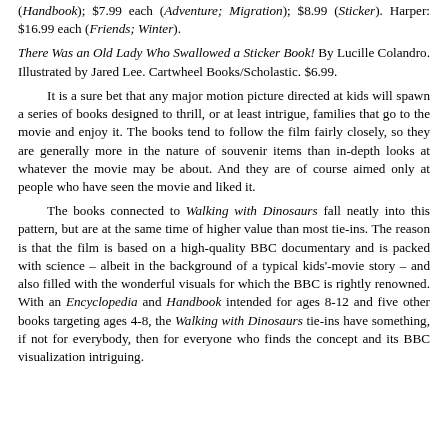(Handbook); $7.99 each (Adventure; Migration); $8.99 (Sticker). Harper: $16.99 each (Friends; Winter).
There Was an Old Lady Who Swallowed a Sticker Book! By Lucille Colandro. Illustrated by Jared Lee. Cartwheel Books/Scholastic. $6.99.
It is a sure bet that any major motion picture directed at kids will spawn a series of books designed to thrill, or at least intrigue, families that go to the movie and enjoy it. The books tend to follow the film fairly closely, so they are generally more in the nature of souvenir items than in-depth looks at whatever the movie may be about. And they are of course aimed only at people who have seen the movie and liked it.
The books connected to Walking with Dinosaurs fall neatly into this pattern, but are at the same time of higher value than most tie-ins. The reason is that the film is based on a high-quality BBC documentary and is packed with science – albeit in the background of a typical kids'-movie story – and also filled with the wonderful visuals for which the BBC is rightly renowned. With an Encyclopedia and Handbook intended for ages 8-12 and five other books targeting ages 4-8, the Walking with Dinosaurs tie-ins have something, if not for everybody, then for everyone who finds the concept and its BBC visualization intriguing.